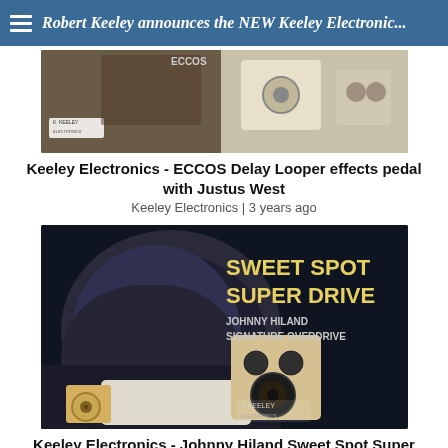Robert Keeley announces the NEW Keeley Electronic...
[Figure (photo): Thumbnail image for Keeley Electronics ECCOS Delay Looper video featuring Justus West, showing a person seated with guitar equipment and the Keeley Electronics logo]
Keeley Electronics - ECCOS Delay Looper effects pedal with Justus West
Keeley Electronics | 3 years ago
[Figure (photo): Promotional image for Sweet Spot Super Drive Johnny Hiland Signature Overdrive pedal, showing Johnny Hiland in a cowboy hat holding the gold pedal, with Keeley Electronics branding on dark background]
Keeley Electronics - Johnny Hiland Sweet Spot Super Drive Overdrive Effect Pedal Demo
Keeley Electronics | 3 years ago
[Figure (photo): Partial thumbnail showing guitar neck and what appears to be an effects pedal, partially cut off at the bottom of the page]